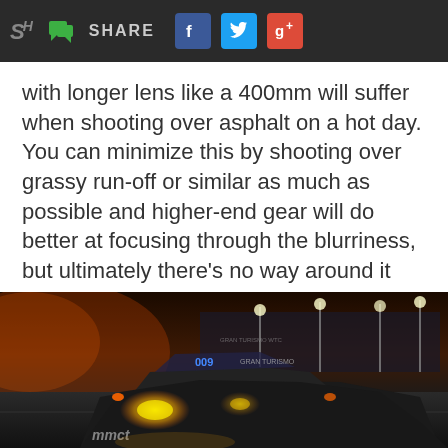SH | SHARE [Facebook] [Twitter] [Google+]
with longer lens like a 400mm will suffer when shooting over asphalt on a hot day. You can minimize this by shooting over grassy run-off or similar as much as possible and higher-end gear will do better at focusing through the blurriness, but ultimately there's no way around it entirely.
[Figure (photo): Night racing photo of a GT race car (number 009, Gran Turismo branded) on track with yellow headlights illuminated, taken at dusk or night with grandstand lights visible in background. Dramatic low-angle shot showing the front of the car.]